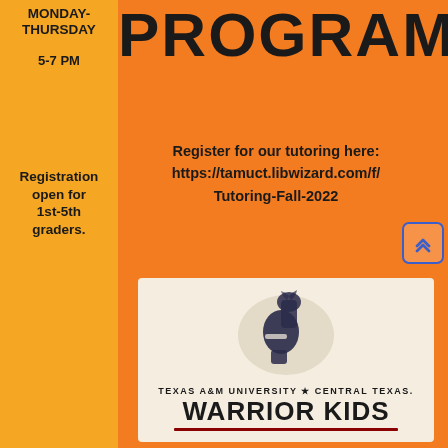MONDAY-THURSDAY
5-7 PM
PROGRAM
Register for our tutoring here:
https://tamuct.libwizard.com/f/
Tutoring-Fall-2022
Registration open for 1st-5th graders.
[Figure (logo): Texas A&M University Central Texas Warrior Kids logo showing a Spartan/Warrior helmet silhouette in dark ink on a light background, with the text 'TEXAS A&M UNIVERSITY * CENTRAL TEXAS.' above and 'WARRIOR KIDS' below in large bold letters with a dark red underline.]